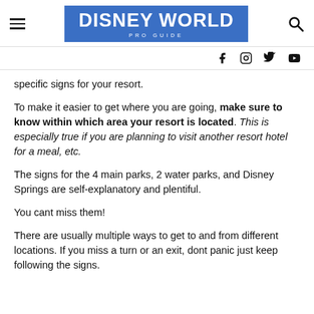DISNEY WORLD PRO GUIDE
specific signs for your resort.
To make it easier to get where you are going, make sure to know within which area your resort is located. This is especially true if you are planning to visit another resort hotel for a meal, etc.
The signs for the 4 main parks, 2 water parks, and Disney Springs are self-explanatory and plentiful.
You cant miss them!
There are usually multiple ways to get to and from different locations. If you miss a turn or an exit, dont panic just keep following the signs.